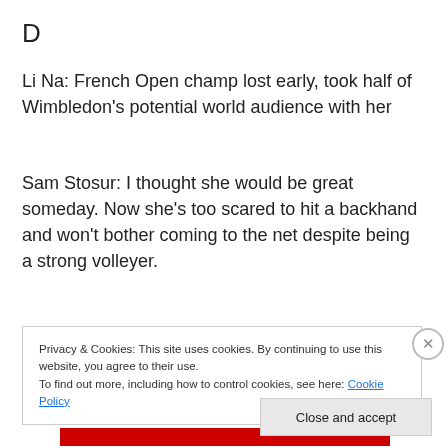D
Li Na: French Open champ lost early, took half of Wimbledon’s potential world audience with her
Sam Stosur: I thought she would be great someday. Now she’s too scared to hit a backhand and won’t bother coming to the net despite being a strong volleyer.
My predictions: OK, I wasn’t duped by the idea that Serena would be rusty. She and Nadal are on track for
Privacy & Cookies: This site uses cookies. By continuing to use this website, you agree to their use.
To find out more, including how to control cookies, see here: Cookie Policy
Close and accept